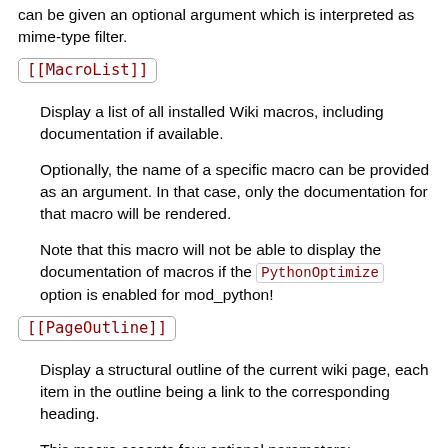can be given an optional argument which is interpreted as mime-type filter.
[[MacroList]]
Display a list of all installed Wiki macros, including documentation if available.
Optionally, the name of a specific macro can be provided as an argument. In that case, only the documentation for that macro will be rendered.
Note that this macro will not be able to display the documentation of macros if the PythonOptimize option is enabled for mod_python!
[[PageOutline]]
Display a structural outline of the current wiki page, each item in the outline being a link to the corresponding heading.
This macro accepts four optional parameters:
The first is a number or range that allows